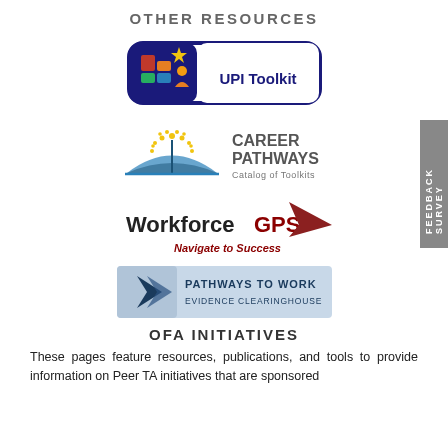OTHER RESOURCES
[Figure (logo): UPI Toolkit logo with colorful icon and rounded rectangle border]
[Figure (logo): Career Pathways Catalog of Toolkits logo with open book and sunburst]
[Figure (logo): WorkforceGPS Navigate to Success logo with red arrow]
[Figure (logo): Pathways to Work Evidence Clearinghouse logo with blue background and arrow icon]
OFA INITIATIVES
These pages feature resources, publications, and tools to provide information on Peer TA initiatives that are sponsored